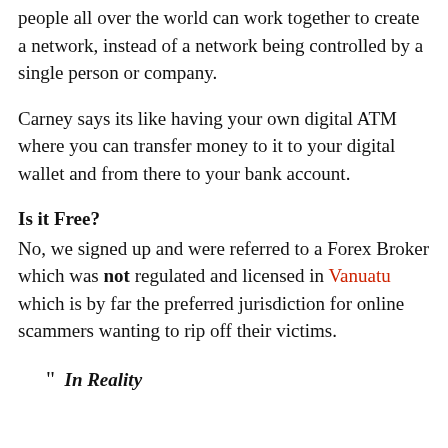people all over the world can work together to create a network, instead of a network being controlled by a single person or company.
Carney says its like having your own digital ATM where you can transfer money to it to your digital wallet and from there to your bank account.
Is it Free?
No, we signed up and were referred to a Forex Broker which was not regulated and licensed in Vanuatu which is by far the preferred jurisdiction for online scammers wanting to rip off their victims.
“ In Reality